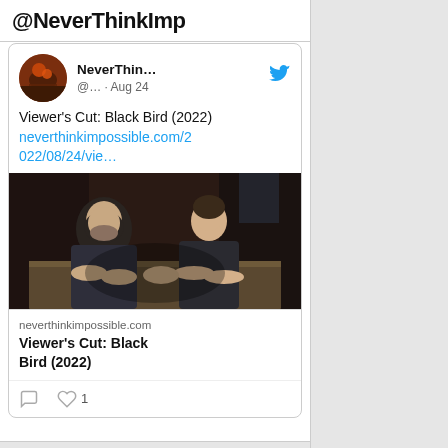@NeverThinkImp
[Figure (screenshot): Tweet from NeverThin... (@... · Aug 24) with Twitter bird icon. Text: Viewer's Cut: Black Bird (2022) neverthinkimpossible.com/2022/08/24/vie… Attached image shows two men sitting across from each other at a table in a dark room. Link preview card below image: neverthinkimpossible.com / Viewer's Cut: Black Bird (2022). Actions row: comment icon, heart icon with count 1.]